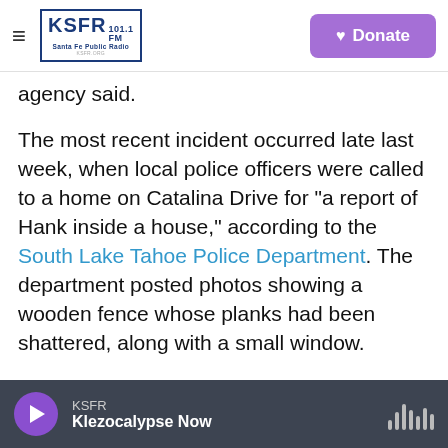KSFR 101.1 FM Santa Fe Public Radio — Donate
agency said.
The most recent incident occurred late last week, when local police officers were called to a home on Catalina Drive for "a report of Hank inside a house," according to the South Lake Tahoe Police Department. The department posted photos showing a wooden fence whose planks had been shattered, along with a small window.
To flush Hank out, two officers "banged on the exterior of the home until he popped out a back door," the police department said, adding that the
KSFR — Klezocalypse Now